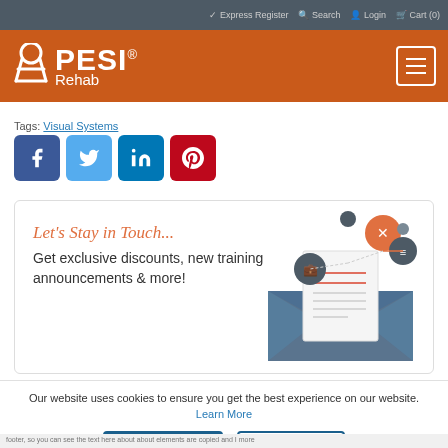✓ Express Register  🔍 Search  👤 Login  🛒 Cart (0)
[Figure (logo): PESI Rehab logo on orange bar with hamburger menu icon]
Tags: Visual Systems
[Figure (illustration): Social media share buttons: Facebook, Twitter, LinkedIn, Pinterest]
[Figure (illustration): Newsletter signup box: 'Let's Stay in Touch...' Get exclusive discounts, new training announcements & more! with email envelope illustration]
Our website uses cookies to ensure you get the best experience on our website. Learn More
OK, I GOT IT!   No thank you.
footer, so you can see the text here about about elements are copied and I more